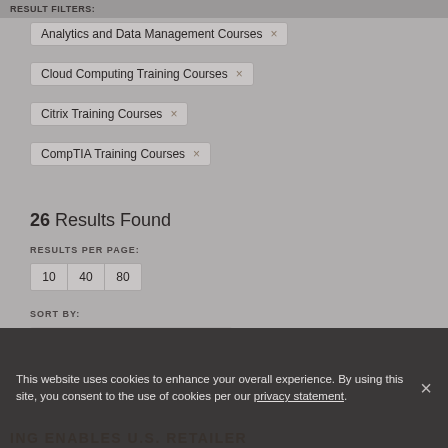RESULT FILTERS:
Analytics and Data Management Courses ×
Cloud Computing Training Courses ×
Citrix Training Courses ×
CompTIA Training Courses ×
26 Results Found
RESULTS PER PAGE:
10  40  80
SORT BY:
Order: A-Z
This website uses cookies to enhance your overall experience. By using this site, you consent to the use of cookies per our privacy statement.
ING ENABLES U.S. RETAILER